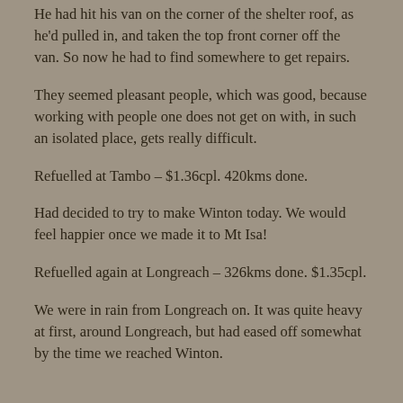He had hit his van on the corner of the shelter roof, as he'd pulled in, and taken the top front corner off the van. So now he had to find somewhere to get repairs.
They seemed pleasant people, which was good, because working with people one does not get on with, in such an isolated place, gets really difficult.
Refuelled at Tambo – $1.36cpl. 420kms done.
Had decided to try to make Winton today. We would feel happier once we made it to Mt Isa!
Refuelled again at Longreach – 326kms done. $1.35cpl.
We were in rain from Longreach on. It was quite heavy at first, around Longreach, but had eased off somewhat by the time we reached Winton.